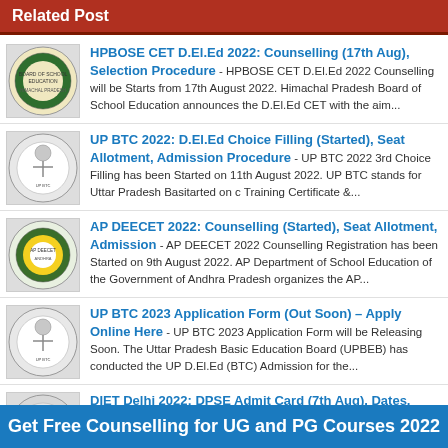Related Post
HPBOSE CET D.El.Ed 2022: Counselling (17th Aug), Selection Procedure - HPBOSE CET D.El.Ed 2022 Counselling will be Starts from 17th August 2022. Himachal Pradesh Board of School Education announces the D.El.Ed CET with the aim...
UP BTC 2022: D.El.Ed Choice Filling (Started), Seat Allotment, Admission Procedure - UP BTC 2022 3rd Choice Filling has been Started on 11th August 2022. UP BTC stands for Uttar Pradesh Basitarted on c Training Certificate &...
AP DEECET 2022: Counselling (Started), Seat Allotment, Admission - AP DEECET 2022 Counselling Registration has been Started on 9th August 2022. AP Department of School Education of the Government of Andhra Pradesh organizes the AP...
UP BTC 2023 Application Form (Out Soon) – Apply Online Here - UP BTC 2023 Application Form will be Releasing Soon. The Uttar Pradesh Basic Education Board (UPBEB) has conducted the UP D.El.Ed (BTC) Admission for the...
DIET Delhi 2022: DPSE Admit Card (7th Aug), Dates, Eligibility - DIET Delhi DPSE 2022 Admit Card will be Releasing on 7th August 2022. The State Council of Education Research & Training Centre (SCERT) will release...
SCERT Delhi DIET D.El.Ed 2023 Application Form (Out
Get Free Counselling for UG and PG Courses 2022